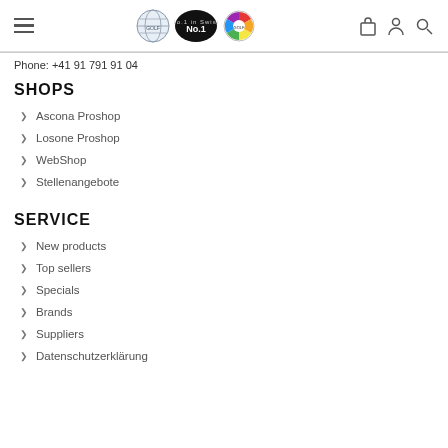Navigation header with hamburger menu, logos (globe, No.1, color wheel), and icons (bag, person, search)
Phone: +41 91 791 91 04
SHOPS
Ascona Proshop
Losone Proshop
WebShop
Stellenangebote
SERVICE
New products
Top sellers
Specials
Brands
Suppliers
Datenschutzerklärung